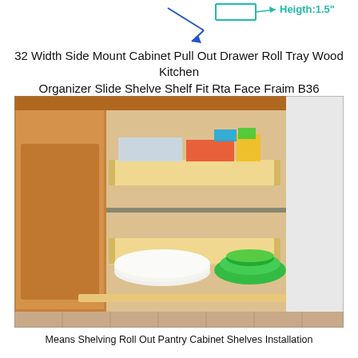[Figure (schematic): Diagram showing a dimension arrow with label 'Heigth:1.5"' in teal/green text, with blue and green arrow lines indicating a measurement.]
32 Width Side Mount Cabinet Pull Out Drawer Roll Tray Wood Kitchen Organizer Slide Shelve Shelf Fit Rta Face Fraim B36
[Figure (photo): Photograph of a wood kitchen cabinet with two pull-out drawer shelves extended. The upper shelf contains toys and storage containers. The lower shelf holds white plates and green bowls/containers.]
Means Shelving Roll Out Pantry Cabinet Shelves Installation